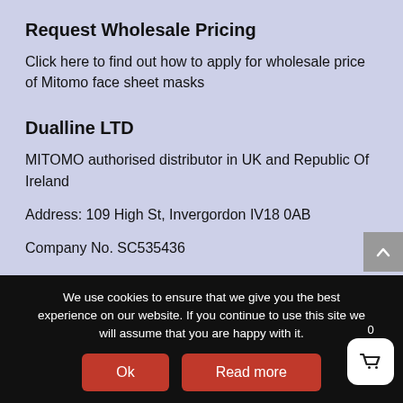Request Wholesale Pricing
Click here to find out how to apply for wholesale price of Mitomo face sheet masks
Dualline LTD
MITOMO authorised distributor in UK and Republic Of Ireland
Address: 109 High St, Invergordon IV18 0AB
Company No. SC535436
We use cookies to ensure that we give you the best experience on our website. If you continue to use this site we will assume that you are happy with it.